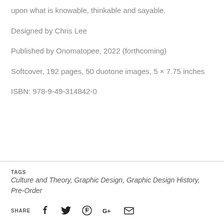upon what is knowable, thinkable and sayable.
Designed by Chris Lee
Published by Onomatopee, 2022 (forthcoming)
Softcover, 192 pages, 50 duotone images, 5 × 7.75 inches
ISBN: 978-9-49-314842-0
TAGS   Culture and Theory, Graphic Design, Graphic Design History, Pre-Order
SHARE